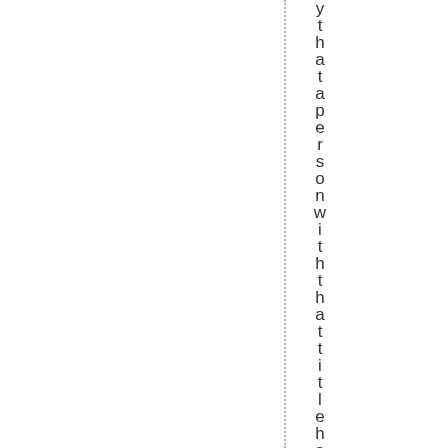ythatapersonwiththattitlehasto